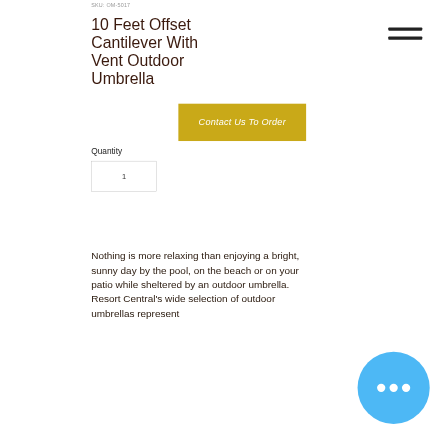SKU: OM-5017
10 Feet Offset Cantilever With Vent Outdoor Umbrella
Contact Us To Order
Quantity
1
Nothing is more relaxing than enjoying a bright, sunny day by the pool, on the beach or on your patio while sheltered by an outdoor umbrella. Resort Central's wide selection of outdoor umbrellas represent ...